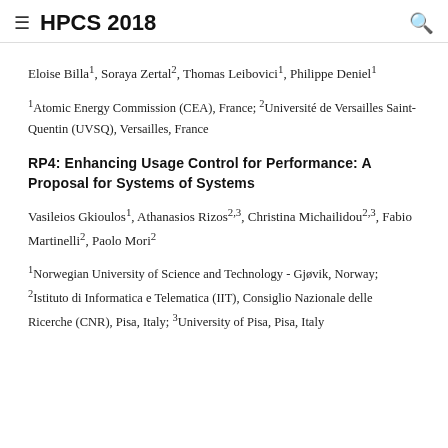HPCS 2018
Eloise Billa¹, Soraya Zertal², Thomas Leibovici¹, Philippe Deniel¹
¹Atomic Energy Commission (CEA), France; ²Université de Versailles Saint-Quentin (UVSQ), Versailles, France
RP4: Enhancing Usage Control for Performance: A Proposal for Systems of Systems
Vasileios Gkioulos¹, Athanasios Rizos²,³, Christina Michailidou²,³, Fabio Martinelli², Paolo Mori²
¹Norwegian University of Science and Technology - Gjøvik, Norway; ²Istituto di Informatica e Telematica (IIT), Consiglio Nazionale delle Ricerche (CNR), Pisa, Italy; ³University of Pisa, Pisa, Italy